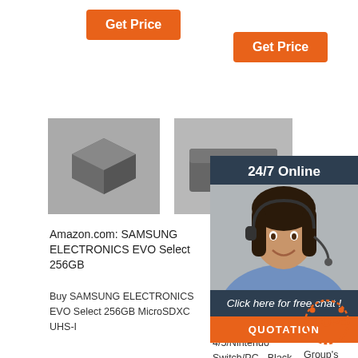[Figure (screenshot): E-commerce search results page showing 3 product columns with orange Get Price buttons, product images (placeholder boxes), product titles and descriptions, and an overlay customer service chat widget with '24/7 Online', 'Click here for free chat!', and 'QUOTATION' button, plus a TOP badge.]
Get Price
Get Price
Amazon.com: SAMSUNG ELECTRONICS EVO Select 256GB
Buy SAMSUNG ELECTRONICS EVO Select 256GB MicroSDXC UHS-I
PlayStation 5 : Target
Turtle Beach Stealth 700 Gen 2 Wireless Gaming Headset for PlayStation 4/5/Nintendo Switch/PC - Black. Turtle Beach. 4.5
Egyp… Over… Deve… news… research, data
2021-11-1u2002·u2002The World Bank Group's engagement with
24/7 Online
Click here for free chat !
QUOTATION